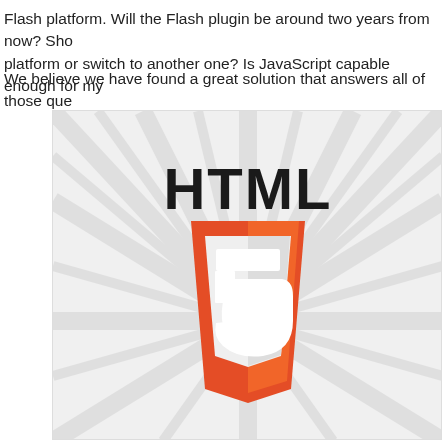Flash platform. Will the Flash plugin be around two years from now? Should I stay on this platform or switch to another one? Is JavaScript capable enough for my
We believe we have found a great solution that answers all of those que
[Figure (logo): HTML5 logo: large bold text 'HTML' above an orange shield with a white '5' inside, on a light grey sunburst background]